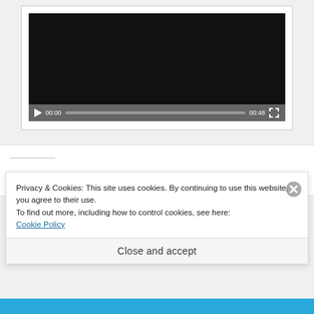[Figure (screenshot): Video player with black screen showing controls: play button, time 00:00, progress bar, duration 00:48, fullscreen button]
Privacy & Cookies: This site uses cookies. By continuing to use this website, you agree to their use.
To find out more, including how to control cookies, see here:
Cookie Policy
Close and accept